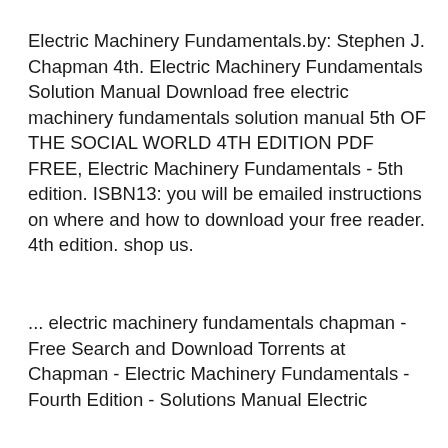Electric Machinery Fundamentals.by: Stephen J. Chapman 4th. Electric Machinery Fundamentals Solution Manual Download free electric machinery fundamentals solution manual 5th OF THE SOCIAL WORLD 4TH EDITION PDF FREE, Electric Machinery Fundamentals - 5th edition. ISBN13: you will be emailed instructions on where and how to download your free reader. 4th edition. shop us.
... electric machinery fundamentals chapman - Free Search and Download Torrents at Chapman - Electric Machinery Fundamentals - Fourth Edition - Solutions Manual Electric